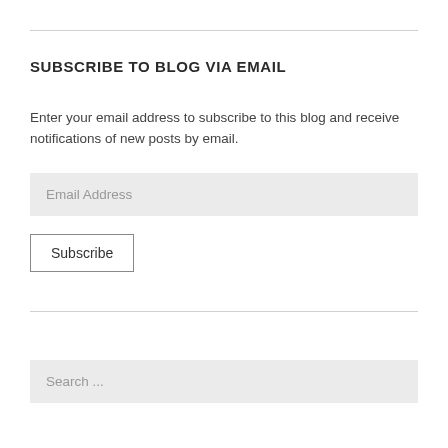SUBSCRIBE TO BLOG VIA EMAIL
Enter your email address to subscribe to this blog and receive notifications of new posts by email.
Email Address
Subscribe
Search ...